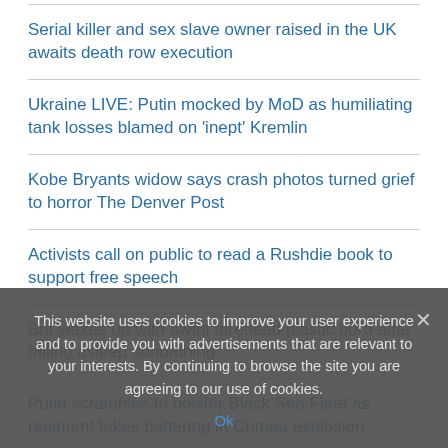Serial killer and sex slave owner raised in the UK awaits death row execution
Ukraine LIVE: Putin mocked by MoD as humiliating tank losses blamed on 'inept' Kremlin
Kobe Bryants widow says crash photos turned grief to horror The Denver Post
Activists call on public to read a Rushdie book to support free speech
Brit wakes up with awful forehead plastic burn after falling asleep sunbathing
Putin scrambles to bolster Black Sea Fleet as regiment takes battering in Crimea explosion
This website uses cookies to improve your user experience and to provide you with advertisements that are relevant to your interests. By continuing to browse the site you are agreeing to our use of cookies.
Ok